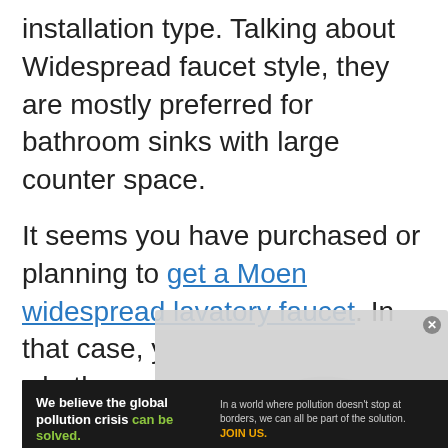installation type. Talking about Widespread faucet style, they are mostly preferred for bathroom sinks with large counter space.
It seems you have purchased or planning to get a Moen widespread lavatory faucet. In that case, you might be in doubt whether you can install it on your own.
[Figure (screenshot): Ad banner for Pure Earth organization with dark background, text 'We believe the global pollution crisis can be solved.' and logo, overlapping a video overlay showing 'No compatible source was found for this media.']